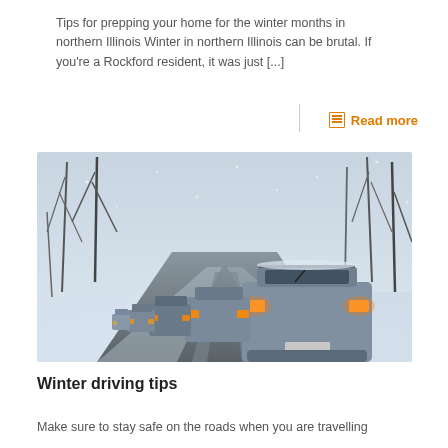Tips for prepping your home for the winter months in northern Illinois Winter in northern Illinois can be brutal. If you're a Rockford resident, it was just [...]
Read more
[Figure (photo): Cars lined up on a snowy winter road with snow-covered trees on either side. The rear of an SUV is prominent in the foreground with brake lights glowing orange.]
Winter driving tips
Make sure to stay safe on the roads when you are travelling